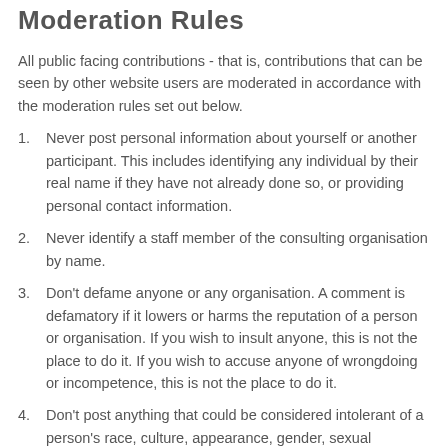Moderation Rules
All public facing contributions - that is, contributions that can be seen by other website users are moderated in accordance with the moderation rules set out below.
Never post personal information about yourself or another participant. This includes identifying any individual by their real name if they have not already done so, or providing personal contact information.
Never identify a staff member of the consulting organisation by name.
Don't defame anyone or any organisation. A comment is defamatory if it lowers or harms the reputation of a person or organisation. If you wish to insult anyone, this is not the place to do it. If you wish to accuse anyone of wrongdoing or incompetence, this is not the place to do it.
Don't post anything that could be considered intolerant of a person's race, culture, appearance, gender, sexual